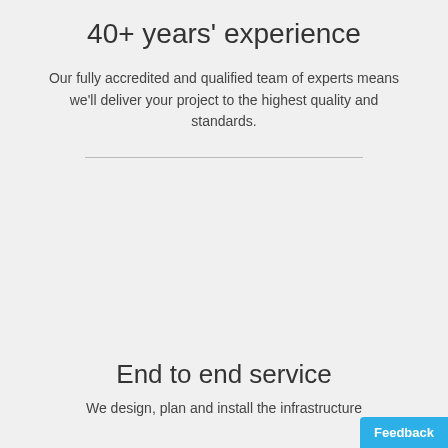40+ years' experience
Our fully accredited and qualified team of experts means we'll deliver your project to the highest quality and standards.
End to end service
We design, plan and install the infrastructure